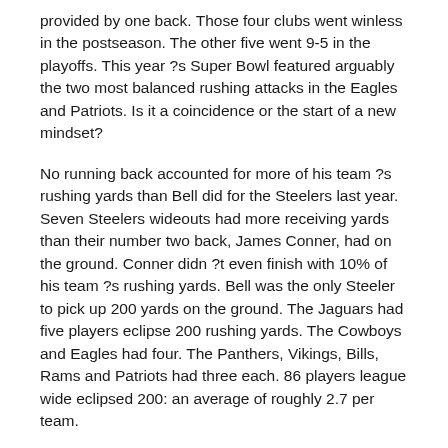provided by one back. Those four clubs went winless in the postseason. The other five went 9-5 in the playoffs. This year ?s Super Bowl featured arguably the two most balanced rushing attacks in the Eagles and Patriots. Is it a coincidence or the start of a new mindset?
No running back accounted for more of his team ?s rushing yards than Bell did for the Steelers last year. Seven Steelers wideouts had more receiving yards than their number two back, James Conner, had on the ground. Conner didn ?t even finish with 10% of his team ?s rushing yards. Bell was the only Steeler to pick up 200 yards on the ground. The Jaguars had five players eclipse 200 rushing yards. The Cowboys and Eagles had four. The Panthers, Vikings, Bills, Rams and Patriots had three each. 86 players league wide eclipsed 200: an average of roughly 2.7 per team.
Bell also had the vast majority of the Steelers ? carries but…As in the Steelers didn ?t use a back f…